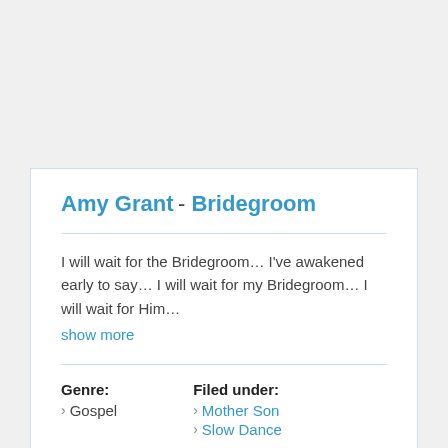Amy Grant - Bridegroom
I will wait for the Bridegroom… I've awakened early to say… I will wait for my Bridegroom… I will wait for Him…
show more
Genre:
› Gospel
Filed under:
› Mother Son
› Slow Dance